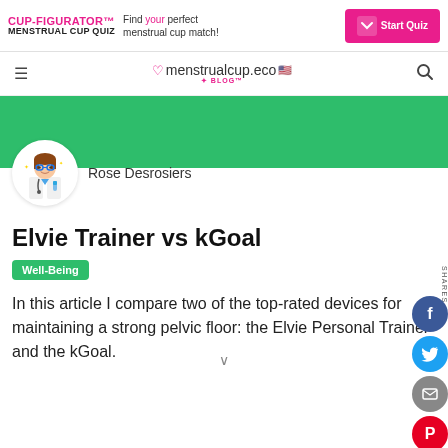[Figure (screenshot): Banner advertisement for CUP-FIGURATOR™ MENSTRUAL CUP QUIZ with pink Start Quiz button]
menstrualcup.eco BLOG™
[Figure (illustration): Green header band with author avatar (illustrated female doctor/scientist) and name Rose Desrosiers]
Rose Desrosiers
Elvie Trainer vs kGoal
Well-Being
In this article I compare two of the top-rated devices for maintaining a strong pelvic floor: the Elvie Personal Trainer and the kGoal.